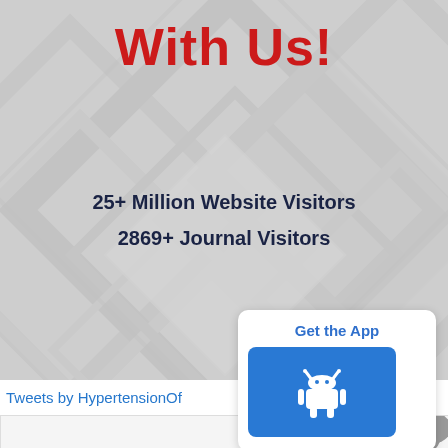With Us!
25+ Million Website Visitors
2869+ Journal Visitors
[Figure (infographic): Get the App button with Android icon in blue square, white rounded card widget]
Tweets by HypertensionOf